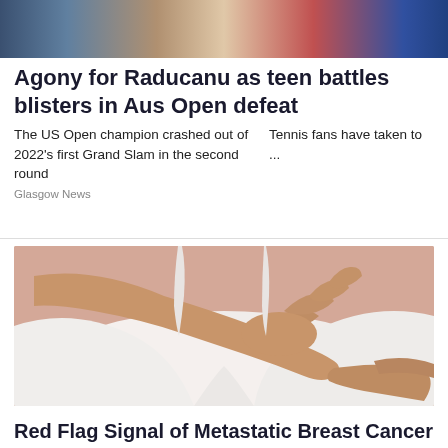[Figure (photo): Top partial image of tennis-related scene, cropped]
Agony for Raducanu as teen battles blisters in Aus Open defeat
The US Open champion crashed out of 2022's first Grand Slam in the second round      Tennis fans have taken to ...
Glasgow News
[Figure (photo): Woman in white tank top holding her chest/breast area with both hands]
Red Flag Signal of Metastatic Breast Cancer